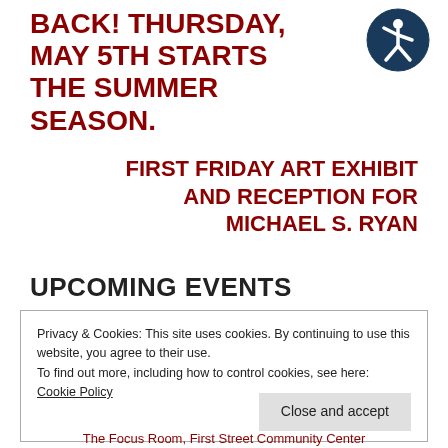BACK! THURSDAY, MAY 5TH STARTS THE SUMMER SEASON.
[Figure (illustration): Accessibility icon: a circular dark blue badge with a white stick figure person symbol in the center]
FIRST FRIDAY ART EXHIBIT AND RECEPTION FOR MICHAEL S. RYAN
UPCOMING EVENTS
Privacy & Cookies: This site uses cookies. By continuing to use this website, you agree to their use.
To find out more, including how to control cookies, see here: Cookie Policy
Close and accept
The Focus Room, First Street Community Center